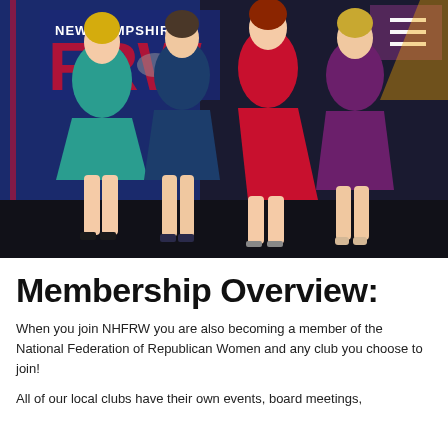[Figure (photo): Four women posing together in front of a New Hampshire FRW (Federation of Republican Women) backdrop. They are wearing colored dresses: teal/green, navy blue, red, and purple/maroon. The background shows the NHFRW logo banner. There is a hamburger menu icon visible in the top right corner.]
Membership Overview:
When you join NHFRW you are also becoming a member of the National Federation of Republican Women and any club you choose to join!
All of our local clubs have their own events, board meetings,